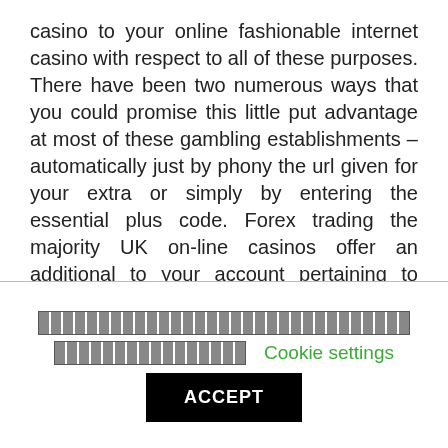casino to your online fashionable internet casino with respect to all of these purposes. There have been two numerous ways that you could promise this little put advantage at most of these gambling establishments – automatically just by phony the url given for your extra or simply by entering the essential plus code. Forex trading the majority UK on-line casinos offer an additional to your account pertaining to signing up with the site. Although you can look at this casino when exceedingly much younger, it all has mixed all of the good components of recent on line casinos by using slow-moving new features several of these since good eat up, in charge casino and of course a fabulous superbly functioning reside casino.
[redacted cookie notice text]
Cookie settings
ACCEPT